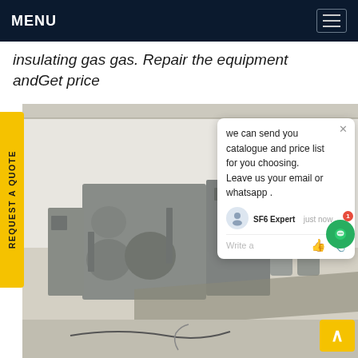MENU
insulating gas gas. Repair the equipment andGet price
[Figure (photo): Industrial SF6 gas equipment/machinery in a factory or warehouse setting, showing large grey metal units with pipes and tanks on a light-coloured floor.]
REQUEST A QUOTE
we can send you catalogue and price list for you choosing. Leave us your email or whatsapp .
SF6 Expert   just now
Write a